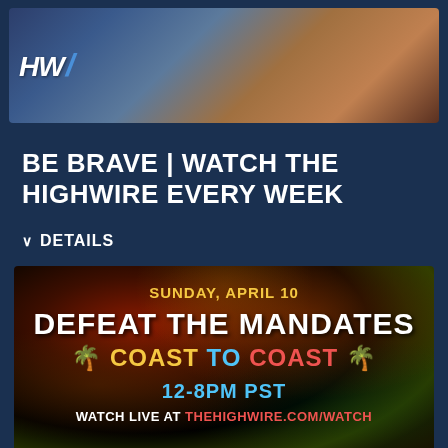[Figure (photo): HighWire show host at desk with HW logo and slash visible in upper left, studio setting with warm background colors]
BE BRAVE | WATCH THE HIGHWIRE EVERY WEEK
DETAILS
[Figure (infographic): Defeat the Mandates Coast to Coast event announcement. Sunday, April 10. 12-8PM PST. Watch Live at thehighwire.com/watch. Dark background with colorful paint splatter effect.]